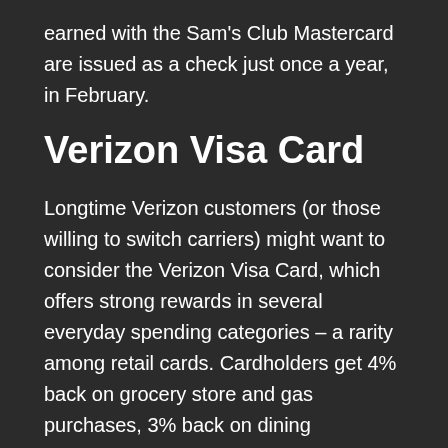earned with the Sam's Club Mastercard are issued as a check just once a year, in February.
Verizon Visa Card
Longtime Verizon customers (or those willing to switch carriers) might want to consider the Verizon Visa Card, which offers strong rewards in several everyday spending categories – a rarity among retail cards. Cardholders get 4% back on grocery store and gas purchases, 3% back on dining purchases, 2% back on Verizon purchases (including devices and monthly bills) and 1% back on all other spending.
The downside is that your rewards are issued as Verizon Dollars, which can only be redeemed for Verizon purchases, such as a new phone or your monthly service